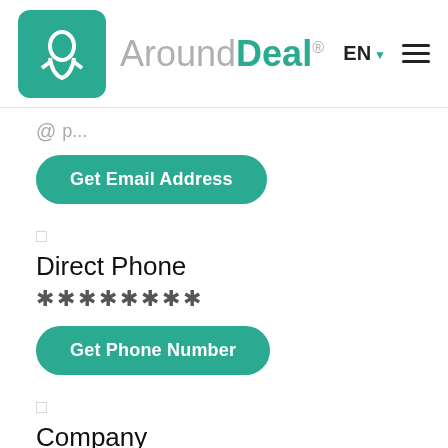AroundDeal® EN ☰
@ (partial email, cut off)
Get Email Address
□
Direct Phone
********
Get Phone Number
□
Company
Startup-O
□